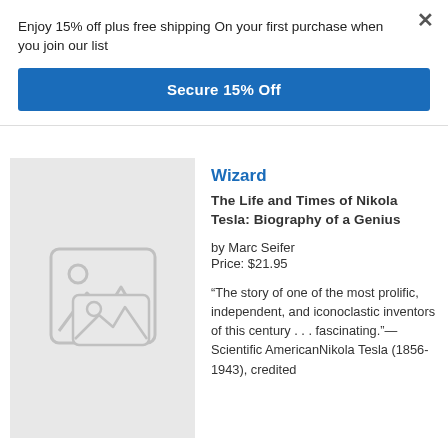Enjoy 15% off plus free shipping On your first purchase when you join our list
Secure 15% Off
[Figure (illustration): Placeholder image icon with mountain and sun symbols on gray background]
Wizard
The Life and Times of Nikola Tesla: Biography of a Genius
by Marc Seifer
Price: $21.95
“The story of one of the most prolific, independent, and iconoclastic inventors of this century . . . fascinating.”—Scientific AmericanNikola Tesla (1856-1943), credited